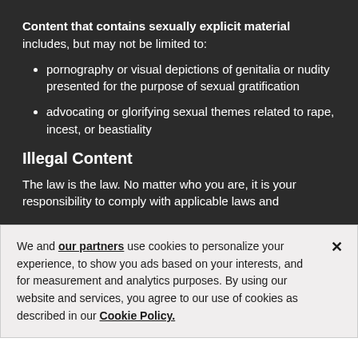Content that contains sexually explicit material includes, but may not be limited to:
pornography or visual depictions of genitalia or nudity presented for the purpose of sexual gratification
advocating or glorifying sexual themes related to rape, incest, or beastiality
Illegal Content
The law is the law. No matter who you are, it is your responsibility to comply with applicable laws and
We and our partners use cookies to personalize your experience, to show you ads based on your interests, and for measurement and analytics purposes. By using our website and services, you agree to our use of cookies as described in our Cookie Policy.